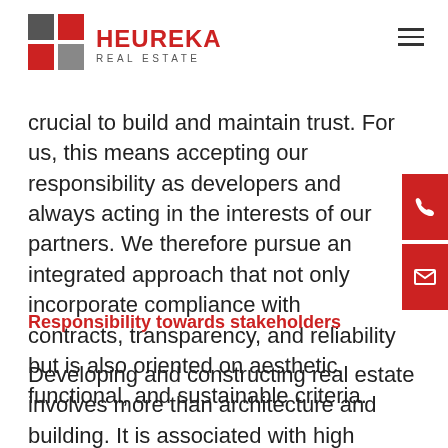Heureka Real Estate
crucial to build and maintain trust. For us, this means accepting our responsibility as developers and always acting in the interests of our partners. We therefore pursue an integrated approach that not only incorporates compliance with contracts, transparency, and reliability but is also oriented on aesthetic, functional, and sustainable criteria.
Responsibility towards stakeholders
Developing and constructing real estate involves more than architecture and building. It is associated with high financial outlay and a